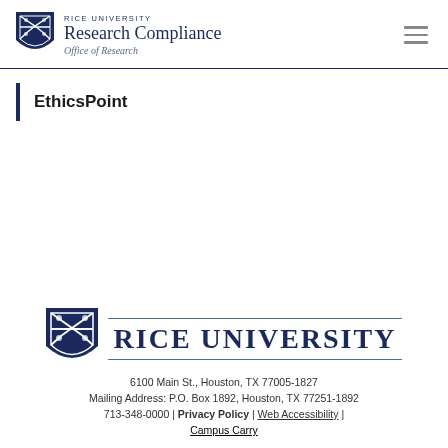RICE UNIVERSITY Research Compliance Office of Research
EthicsPoint
[Figure (logo): Rice University shield logo large with RICE UNIVERSITY text]
6100 Main St., Houston, TX 77005-1827
Mailing Address: P.O. Box 1892, Houston, TX 77251-1892
713-348-0000 | Privacy Policy | Web Accessibility |
Campus Carry